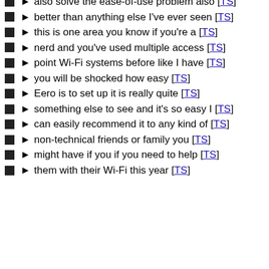also solve the ease-of-use problem also [TS]
better than anything else I've ever seen [TS]
this is one area you know if you're a [TS]
nerd and you've used multiple access [TS]
point Wi-Fi systems before like I have [TS]
you will be shocked how easy [TS]
Eero is to set up it is really quite [TS]
something else to see and it's so easy I [TS]
can easily recommend it to any kind of [TS]
non-technical friends or family you [TS]
might have if you if you need to help [TS]
them with their Wi-Fi this year [TS]